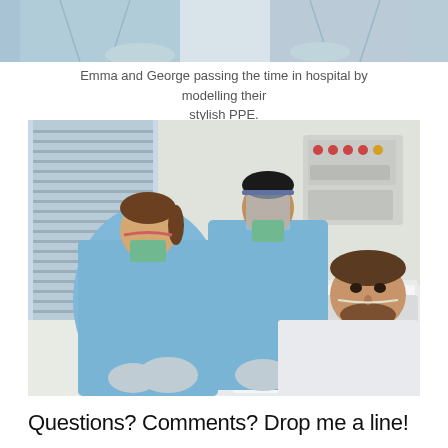[Figure (photo): Partial view of two people in hospital PPE (blue gowns, masks) — cropped top portion of a hospital scene]
Emma and George passing the time in hospital by modelling their stylish PPE.
[Figure (photo): Two healthcare workers in full PPE (blue gowns, masks, face shield, gloves) attending to a male patient lying in a hospital bed. The room has medical equipment on the wall. The patient has oxygen tubing and is looking at the camera.]
Questions? Comments? Drop me a line!